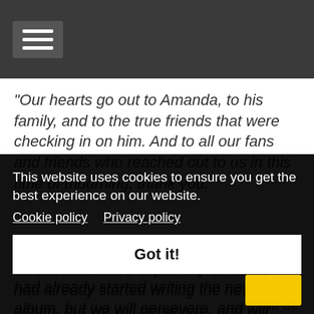[Navigation bar with hamburger menu icon]
"Our hearts go out to Amanda, to his family, and to the true friends that were checking in on him. And to all our fans and friends who reached out to us in this time of mourning, thank you."
"Considering everything; moving on will be difficult at first, especially since we had already started writing the new album, but we will persevere, and will honor his legacy in [...]ill be [...would [...e miss
This website uses cookies to ensure you get the best experience on our website. Cookie policy  Privacy policy
Got it!